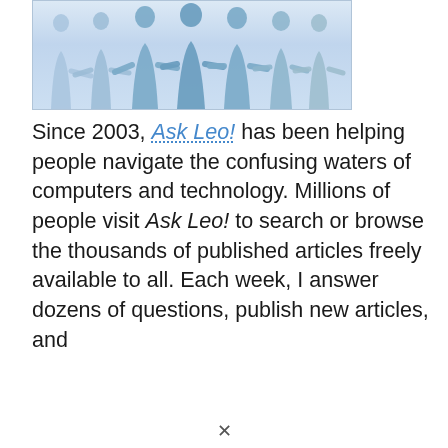[Figure (illustration): A light blue illustration showing silhouettes of people holding hands in a row against a soft blue gradient background.]
Since 2003, Ask Leo! has been helping people navigate the confusing waters of computers and technology. Millions of people visit Ask Leo! to search or browse the thousands of published articles freely available to all. Each week, I answer dozens of questions, publish new articles, and